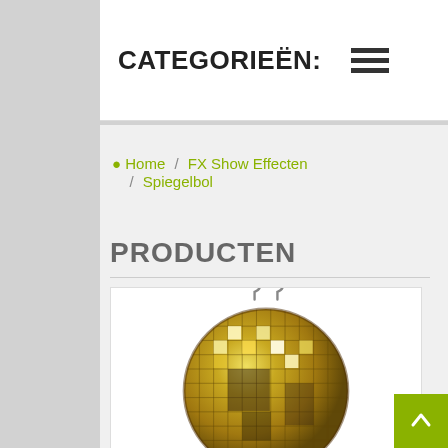CATEGORIEËN:
Home / FX Show Effecten / Spiegelbol
PRODUCTEN
[Figure (photo): A gold/golden disco mirror ball with two hanging hooks at the top, covered in small square mirror tiles reflecting golden light.]